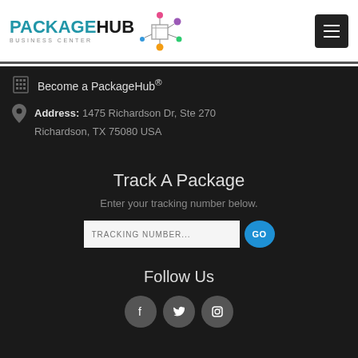[Figure (logo): PackageHub Business Center logo with network diagram of colored dots]
Become a PackageHub®
Address: 1475 Richardson Dr, Ste 270 Richardson, TX 75080 USA
Track A Package
Enter your tracking number below.
Follow Us